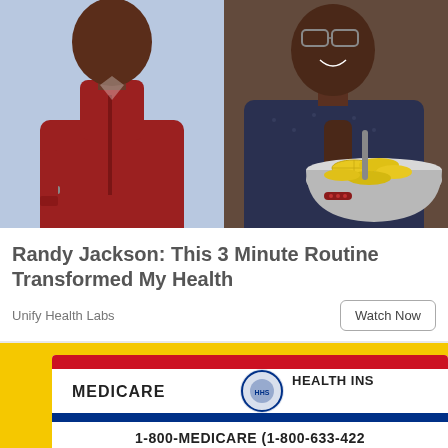[Figure (photo): Split photo: left side shows a heavyset Black man in a red button-up shirt against a light blue background; right side shows an older Black man in a dark patterned shirt holding a silver bowl filled with lemon slices.]
Randy Jackson: This 3 Minute Routine Transformed My Health
Unify Health Labs
[Figure (photo): A Medicare Health Insurance card on a yellow background. The card shows: MEDICARE, HEALTH INS, 1-800-MEDICARE (1-800-633-422...), NAME OF BENEFICIARY (redacted), MEDICARE CLAIM NUMBER (partially visible/redacted), SEX (redacted).]